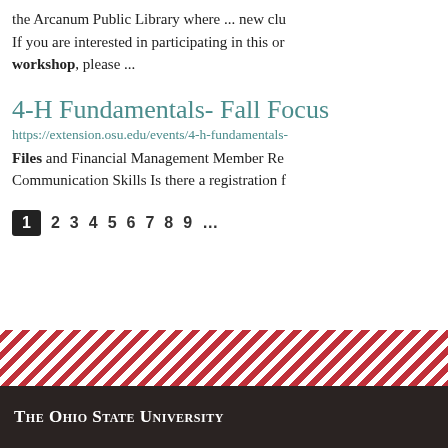the Arcanum Public Library where ... new clu If you are interested in participating in this or workshop, please ...
4-H Fundamentals- Fall Focus
https://extension.osu.edu/events/4-h-fundamentals- Files and Financial Management Member Re Communication Skills Is there a registration f
1 2 3 4 5 6 7 8 9 ...
The Ohio State University